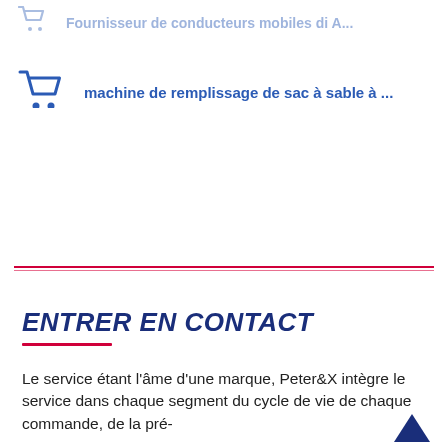Fournisseur de conducteurs mobiles di A...
machine de remplissage de sac à sable à ...
ENTRER EN CONTACT
[Figure (illustration): Small broken/placeholder image icon in top-right of contact section]
Le service étant l'âme d'une marque, Peter&X intègre le service dans chaque segment du cycle de vie de chaque commande, de la pré-